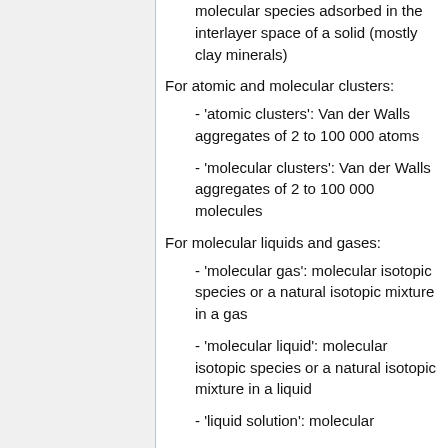molecular species adsorbed in the interlayer space of a solid (mostly clay minerals)
For atomic and molecular clusters:
- 'atomic clusters': Van der Walls aggregates of 2 to 100 000 atoms
- 'molecular clusters': Van der Walls aggregates of 2 to 100 000 molecules
For molecular liquids and gases:
- 'molecular gas': molecular isotopic species or a natural isotopic mixture in a gas
- 'molecular liquid': molecular isotopic species or a natural isotopic mixture in a liquid
- 'liquid solution': molecular